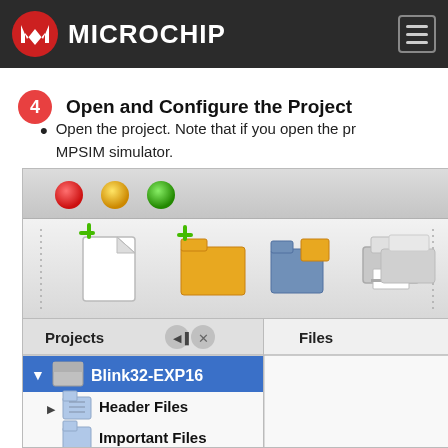Microchip
4 Open and Configure the Project
Open the project. Note that if you open the pr... MPSIM simulator.
[Figure (screenshot): Screenshot of MPLAB X IDE showing toolbar with new file, new project, open project icons and a project panel showing Blink32-EXP16 project with Header Files and Important Files folders]